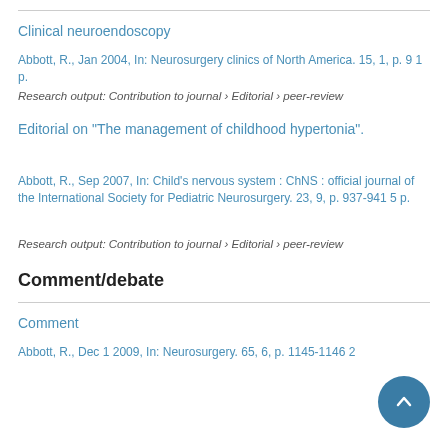Clinical neuroendoscopy
Abbott, R., Jan 2004, In: Neurosurgery clinics of North America. 15, 1, p. 9 1 p.
Research output: Contribution to journal › Editorial › peer-review
Editorial on "The management of childhood hypertonia".
Abbott, R., Sep 2007, In: Child's nervous system : ChNS : official journal of the International Society for Pediatric Neurosurgery. 23, 9, p. 937-941 5 p.
Research output: Contribution to journal › Editorial › peer-review
Comment/debate
Comment
Abbott, R., Dec 1 2009, In: Neurosurgery. 65, 6, p. 1145-1146 2